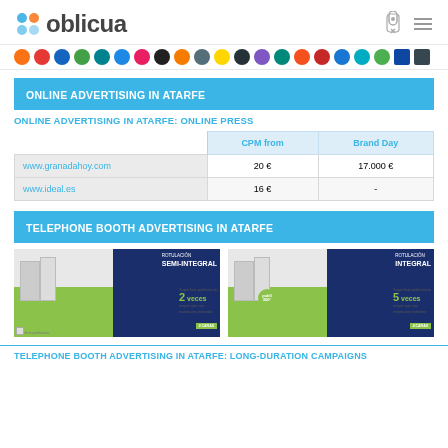[Figure (logo): Oblicua logo with blue/orange snowflake-like icon and text 'oblicua']
[Figure (illustration): Row of colorful circular brand/media icons]
ONLINE ADVERTISING IN ATARFE
ONLINE ADVERTISING IN ATARFE: ONLINE PRESS
|  | CPM from | Brand Day |
| --- | --- | --- |
| www.granadahoy.com | 20 € | 17.000 € |
| www.ideal.es | 16 € | - |
TELEPHONE BOOTH ADVERTISING IN ATARFE
[Figure (illustration): Two telephone booth advertising diagrams - Semi-integral (2 veces) and Integral (5 veces) showing advertising surface types]
TELEPHONE BOOTH ADVERTISING IN ATARFE: LONG-DURATION CAMPAIGNS